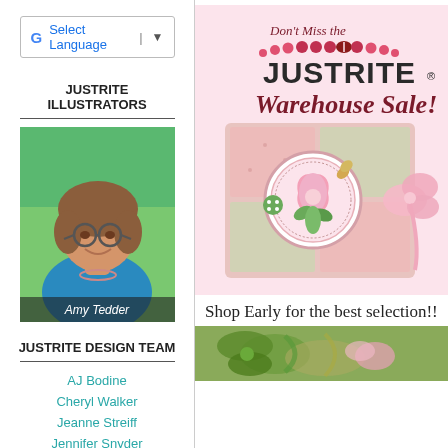[Figure (other): Google Translate widget with G logo, 'Select Language' text, and dropdown arrow]
JUSTRITE ILLUSTRATORS
[Figure (photo): Photo of Amy Tedder, a woman with brown curly hair and glasses, wearing a blue top, with caption 'Amy Tedder']
JUSTRITE DESIGN TEAM
AJ Bodine
Cheryl Walker
Jeanne Streiff
Jennifer Snyder
Laura Cox
Rhonda Van Ginkel
[Figure (illustration): JustRite Warehouse Sale advertisement banner with pink floral card design, text: Don't Miss the JustRite Warehouse Sale!]
Shop Early for the best selection!!
[Figure (photo): Bottom partial image showing ribbons/craft supplies in green and pink tones]